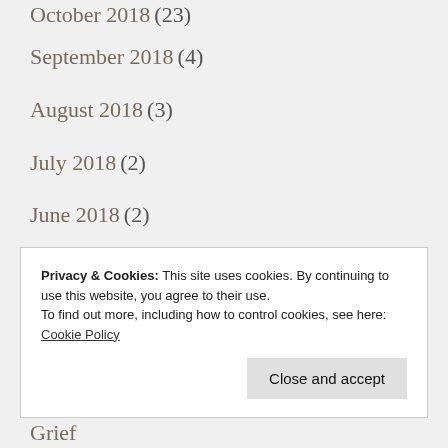October 2018 (23)
September 2018 (4)
August 2018 (3)
July 2018 (2)
June 2018 (2)
May 2018 (1)
March 2018 (16)
February 2018 (26)
Privacy & Cookies: This site uses cookies. By continuing to use this website, you agree to their use.
To find out more, including how to control cookies, see here: Cookie Policy
Grief